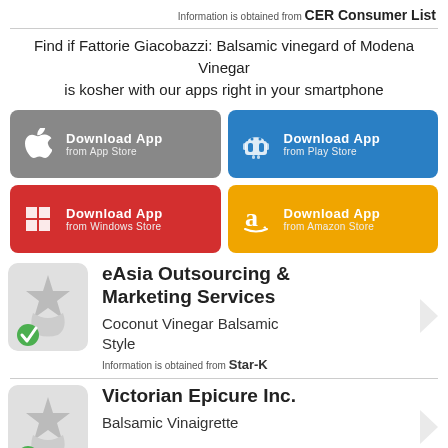Information is obtained from CER Consumer List
Find if Fattorie Giacobazzi: Balsamic vinegard of Modena Vinegar is kosher with our apps right in your smartphone
[Figure (infographic): Four app store download buttons: Apple App Store (grey), Google Play Store (blue), Windows Store (red), Amazon Store (orange)]
[Figure (infographic): Product icon with star and check mark for eAsia Outsourcing & Marketing Services - Coconut Vinegar Balsamic Style, information from Star-K]
eAsia Outsourcing & Marketing Services
Coconut Vinegar Balsamic Style
Information is obtained from Star-K
[Figure (infographic): Product icon with star and check mark for Victorian Epicure Inc. - Balsamic Vinaigrette]
Victorian Epicure Inc.
Balsamic Vinaigrette